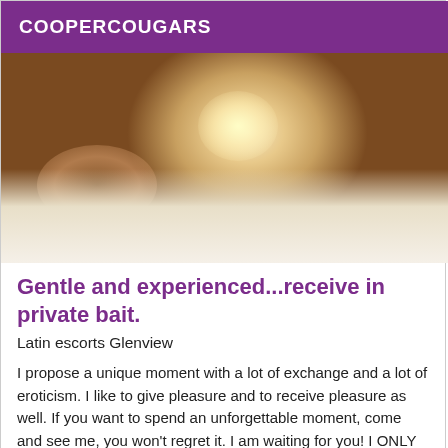COOPERCOUGARS
[Figure (photo): Close-up photo of a person lying on white sheets]
Gentle and experienced...receive in private bait.
Latin escorts Glenview
I propose a unique moment with a lot of exchange and a lot of eroticism. I like to give pleasure and to receive pleasure as well. If you want to spend an unforgettable moment, come and see me, you won't regret it. I am waiting for you! I ONLY RECEIVE I do not move...